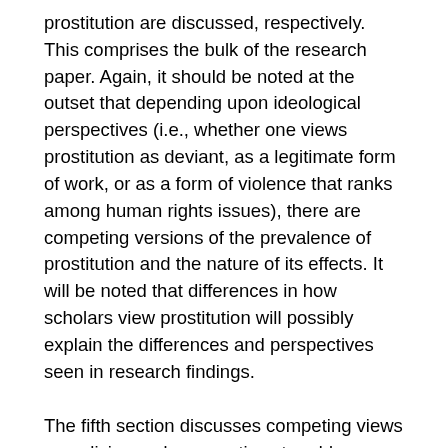prostitution are discussed, respectively. This comprises the bulk of the research paper. Again, it should be noted at the outset that depending upon ideological perspectives (i.e., whether one views prostitution as deviant, as a legitimate form of work, or as a form of violence that ranks among human rights issues), there are competing versions of the prevalence of prostitution and the nature of its effects. It will be noted that differences in how scholars view prostitution will possibly explain the differences and perspectives seen in research findings.
The fifth section discusses competing views on policies and perspectives to address prostitution that have evolved through the years. For most countries and for most of the modern age, prostitution has been seen as a form of deviance, and many countries have had criminal and civil laws against prostitution. However, this dominant view has been challenged, and in a few developed countries, there have been attempts to decriminalize or legalize prostitution. This will be elaborated more thoroughly in this section. The